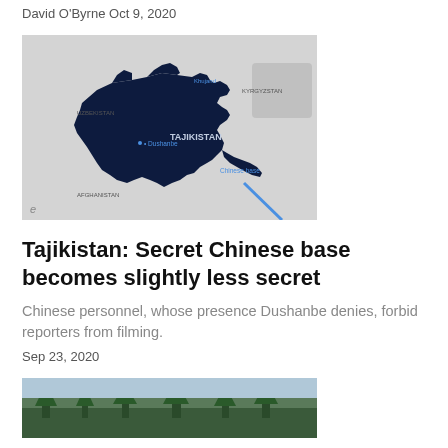David O'Byrne Oct 9, 2020
[Figure (map): Map of Tajikistan highlighted in dark navy blue, showing surrounding countries Uzbekistan, Kyrgyzstan, Afghanistan, and a label 'Chinese base' in the southeast with a blue diagonal line. City 'Dushanbe' marked. Map has gray background.]
Tajikistan: Secret Chinese base becomes slightly less secret
Chinese personnel, whose presence Dushanbe denies, forbid reporters from filming.
Sep 23, 2020
[Figure (photo): Partial thumbnail of an outdoor photograph, mostly trees/forest scene, bottom of page.]